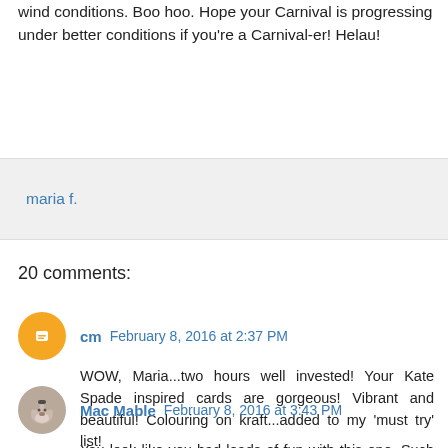wind conditions. Boo hoo. Hope your Carnival is progressing under better conditions if you're a Carnival-er! Helau!
maria f.
20 comments:
cm  February 8, 2016 at 2:37 PM
WOW, Maria...two hours well invested! Your Kate Spade inspired cards are gorgeous! Vibrant and beautiful! Colouring on kraft...added to my 'must try' list!
Hugs~c
Reply
Mac Mable  February 8, 2016 at 3:43 PM
You look like you had loads of fun with this one. Such gorgeous vibrant colours, which goes so well with the kraft